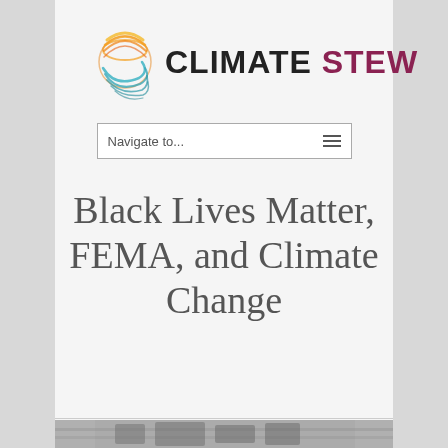[Figure (logo): Climate Stew logo with circular sun/wave graphic and bold text 'CLIMATE STEW']
Navigate to...
Black Lives Matter, FEMA, and Climate Change
[Figure (photo): Partial black and white photograph visible at bottom of page]